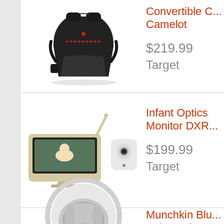[Figure (photo): Black convertible car seat product photo]
Convertible C... Camelot
$219.99
Target
[Figure (photo): Infant Optics baby monitor set with screen and camera unit]
Infant Optics Monitor DXR...
$199.99
Target
[Figure (photo): White Munchkin Bluetooth baby swing with gray interior]
Munchkin Blu... Baby Swing ...